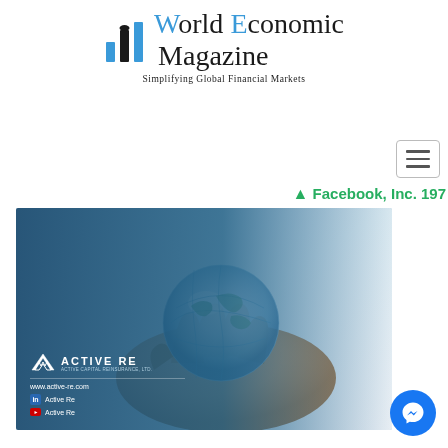[Figure (logo): World Economic Magazine logo with blue chart icon and text 'World Economic Magazine — Simplifying Global Financial Markets']
[Figure (illustration): Advertisement image showing a hand holding a crystal globe, with Active Re company branding overlay in navy blue. Shows logo, website www.active-re.com, LinkedIn and YouTube social media links.]
Facebook, Inc. 197
[Figure (other): Messenger chat widget button (blue circle with lightning bolt icon)]